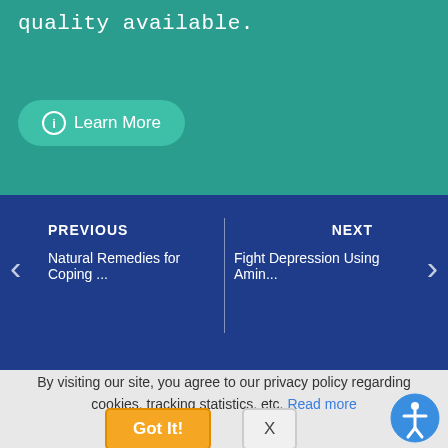quality available.
[Figure (screenshot): Learn More button with info icon on teal background]
PREVIOUS
Natural Remedies for Coping ...
NEXT
Fight Depression Using Amin...
By visiting our site, you agree to our privacy policy regarding cookies, tracking statistics, etc. Read more
[Figure (screenshot): Got It! button (orange) and X close button (gray)]
[Figure (illustration): Accessibility icon button (blue circle with person symbol)]